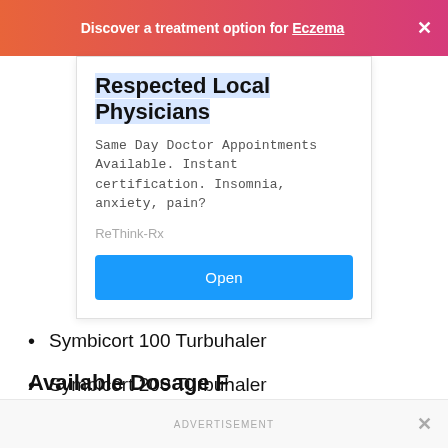Discover a treatment option for Eczema ×
[Figure (screenshot): Advertisement card for ReThink-Rx showing bold heading 'Respected Local Physicians', body text about same day doctor appointments, and a blue Open button]
Symbicort 100 Turbuhaler
Symbicort 200 Turbuhaler
Available Dosage F…
ADVERTISEMENT